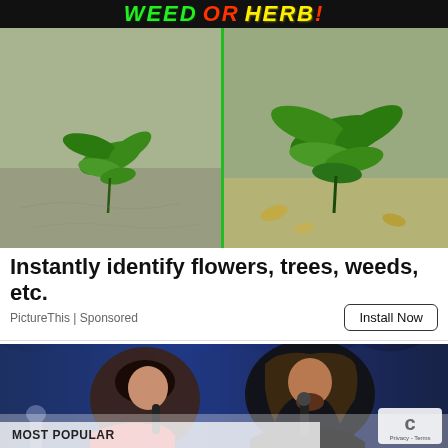[Figure (photo): Advertisement banner showing two plant photos side by side with 'WEED OR HERB?' text header in green and yellow on black background. Left photo shows a small leafy plant growing from sandy ground. Right photo shows a larger leafy plant on a similar ground.]
Instantly identify flowers, trees, weeds, etc.
PictureThis | Sponsored
Install Now
[Figure (photo): Two singers performing on stage – a young woman with dark hair in a red top and a man with long hair and beard in a black shirt, both holding microphones, with blue stage lighting in the background.]
MOST POPULAR